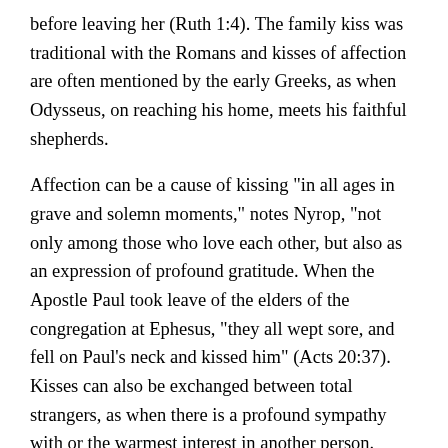before leaving her (Ruth 1:4). The family kiss was traditional with the Romans and kisses of affection are often mentioned by the early Greeks, as when Odysseus, on reaching his home, meets his faithful shepherds.
Affection can be a cause of kissing "in all ages in grave and solemn moments," notes Nyrop, "not only among those who love each other, but also as an expression of profound gratitude. When the Apostle Paul took leave of the elders of the congregation at Ephesus, "they all wept sore, and fell on Paul's neck and kissed him" (Acts 20:37). Kisses can also be exchanged between total strangers, as when there is a profound sympathy with or the warmest interest in another person.
Folk poetry has been the source of affectionate kisses where they sometimes played an important part, as when they had the power to cast off spells or to break bonds of